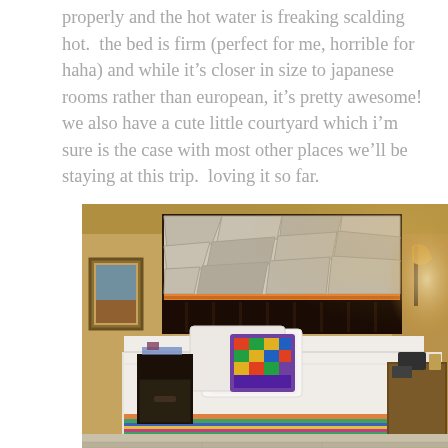properly and the hot water is freaking scalding hot.  the bed is firm (perfect for me, horrible for haha) and while it's closer in size to japanese rooms rather than european, it's pretty awesome! we also have a cute little courtyard which i'm sure is the case with most other places we'll be staying at this trip.  loving it so far.
[Figure (photo): Hotel room with a single bed featuring a decorative stone/mosaic headboard with orange under-lighting. The bed has white linens, a colorful patterned pillow, and a striped runner. A wall-mounted lamp illuminates the right side. A small nightstand with a phone and other items is on the right. A framed picture hangs on the left wall. The room walls are textured in warm yellow/beige tones.]